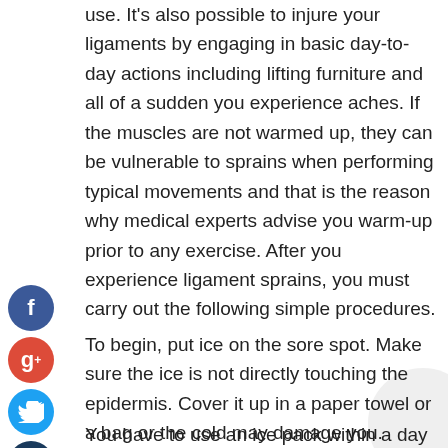use. It's also possible to injure your ligaments by engaging in basic day-to-day actions including lifting furniture and all of a sudden you experience aches. If the muscles are not warmed up, they can be vulnerable to sprains when performing typical movements and that is the reason why medical experts advise you warm-up prior to any exercise. After you experience ligament sprains, you must carry out the following simple procedures.
To begin, put ice on the sore spot. Make sure the ice is not directly touching the epidermis. Cover it up in a paper towel or a bag or the cold may damage you.
You have to use an ice pack within a day of feeling the tendon soreness. Within that period of time, you may chill the sore ligaments 3 or 4 times for ten or